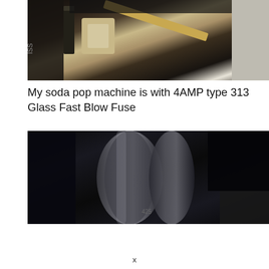[Figure (photo): Close-up photo of a soda pop machine's internal fuse holder area, showing metal components, fuse clips, and a beige/tan colored fuse or connector piece against dark metal background]
My soda pop machine is with 4AMP type 313 Glass Fast Blow Fuse
[Figure (photo): Close-up photo of dark metal pipes or tubes inside the soda machine, showing gray cylindrical pipes/tubes against a very dark background]
x